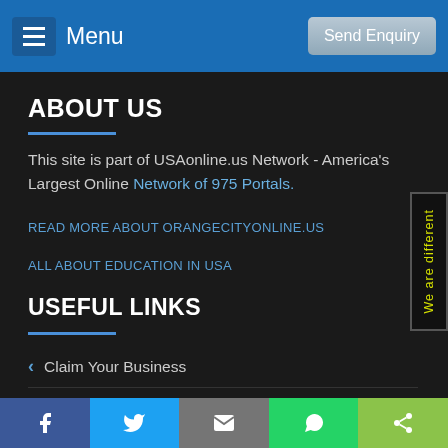Menu | Send Enquiry
ABOUT US
This site is part of USAonline.us Network - America's Largest Online Network of 975 Portals.
READ MORE ABOUT ORANGECITYONLINE.US
ALL ABOUT EDUCATION IN USA
USEFUL LINKS
Claim Your Business
Create New Listing
Facebook | Twitter | Email | WhatsApp | Share